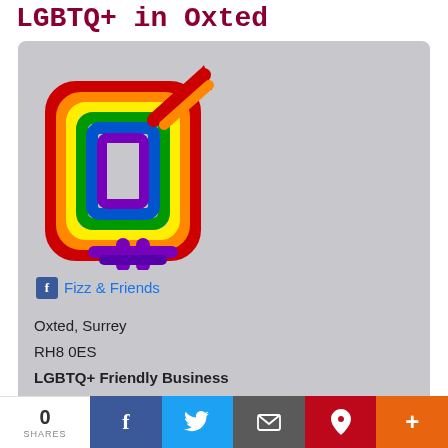LGBTQ+ in Oxted
[Figure (logo): Rainbow pride LGBTQ+ symbol combining male (Mars) and female (Venus) symbols in rainbow colors (red, orange, yellow, green, blue, purple)]
Fizz & Friends
Oxted, Surrey
RH8 0ES
LGBTQ+ Friendly Business
Rating: ★★★★★
Updated: 13 Jul 2021
0 SHARES | Facebook | Twitter | Email | Pinterest | More